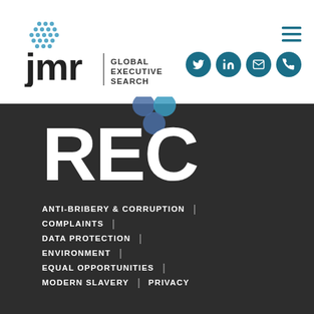[Figure (logo): JMR Global Executive Search logo with globe icon, text 'jmr' and 'GLOBAL EXECUTIVE SEARCH']
[Figure (infographic): Dark background section with large white 'REC' text and navigation links: ANTI-BRIBERY & CORRUPTION, COMPLAINTS, DATA PROTECTION, ENVIRONMENT, EQUAL OPPORTUNITIES, MODERN SLAVERY, PRIVACY, with pipe separators]
ANTI-BRIBERY & CORRUPTION
COMPLAINTS
DATA PROTECTION
ENVIRONMENT
EQUAL OPPORTUNITIES
MODERN SLAVERY
PRIVACY